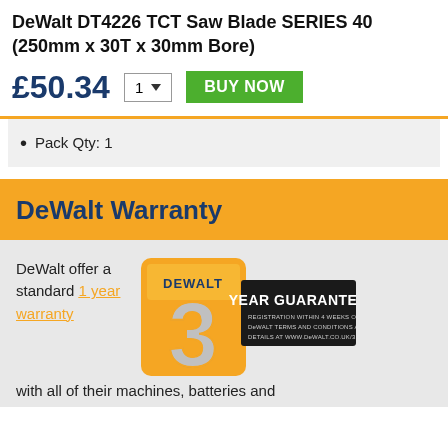DeWalt DT4226 TCT Saw Blade SERIES 40 (250mm x 30T x 30mm Bore)
£50.34
Pack Qty: 1
DeWalt Warranty
DeWalt offer a standard 1 year warranty with all of their machines, batteries and
[Figure (logo): DeWalt 3 Year Guarantee badge — yellow badge with large silver '3' and black banner reading 'YEAR GUARANTEE', small text: 'REGISTRATION WITHIN 4 WEEKS OF PURCHASE, DeWALT TERMS AND CONDITIONS APPLY, DETAILS AT WWW.DeWALT.CO.UK/3']